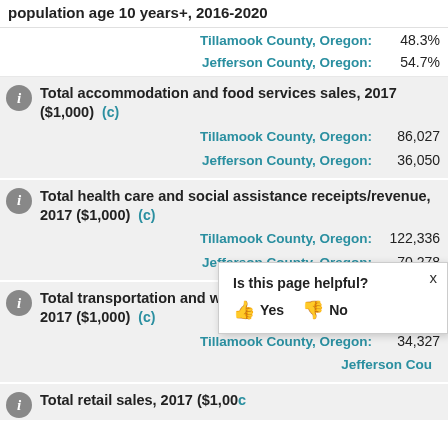population age 10 years+, 2016-2020
Tillamook County, Oregon: 48.3%
Jefferson County, Oregon: 54.7%
Total accommodation and food services sales, 2017 ($1,000) (c)
Tillamook County, Oregon: 86,027
Jefferson County, Oregon: 36,050
Total health care and social assistance receipts/revenue, 2017 ($1,000) (c)
Tillamook County, Oregon: 122,336
Jefferson County, Oregon: 70,278
Total transportation and warehousing receipts/revenue, 2017 ($1,000) (c)
Tillamook County, Oregon: 34,327
Jefferson County, Oregon: (partially obscured)
Total retail sales, 2017 ($1,000) (c)